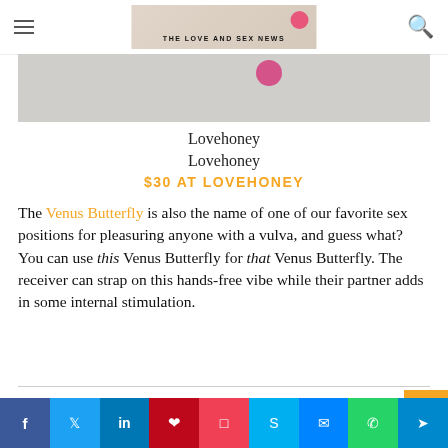THE LOVE AND SEX NEWS
[Figure (photo): Partial product image on grey background with pink circular element visible at top]
Lovehoney
Lovehoney
$30 AT LOVEHONEY
The Venus Butterfly is also the name of one of our favorite sex positions for pleasuring anyone with a vulva, and guess what? You can use this Venus Butterfly for that Venus Butterfly. The receiver can strap on this hands-free vibe while their partner adds in some internal stimulation.
[Figure (screenshot): Bottom social sharing bar with Facebook, Twitter, LinkedIn, Pinterest, Pocket, Skype, Messenger, WhatsApp, Telegram buttons]